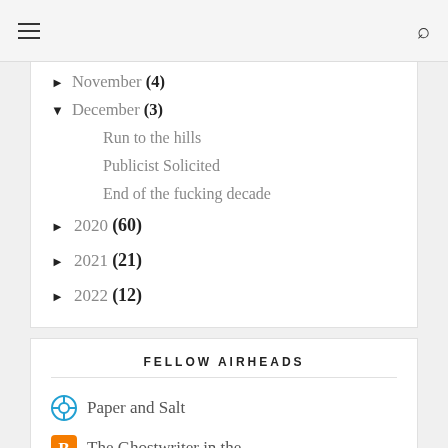Navigation and search bar
► November (4)
▼ December (3)
Run to the hills
Publicist Solicited
End of the fucking decade
► 2020 (60)
► 2021 (21)
► 2022 (12)
FELLOW AIRHEADS
Paper and Salt
The Ghostwriter in the